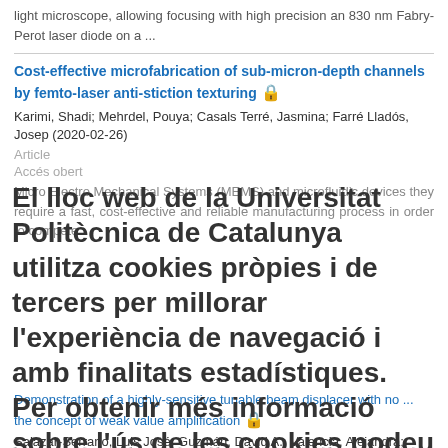light microscope, allowing focusing with high precision an 830 nm Fabry-Perot laser diode on a ...
Cost-effective microfabrication of sub-micron-depth channels by femto-laser anti-stiction texturing 🔒
Karimi, Shadi; Mehrdel, Pouya; Casals Terré, Jasmina; Farré Lladós, Josep (2020-02-26)
Article
Accés obert
Micro Electro Mechanical Systems (MEMS) and microfluidic devices they require a fast, cost-effective and reliable manufacturing process in order to compete
El lloc web de la Universitat Politècnica de Catalunya utilitza cookies pròpies i de tercers per millorar l'experiència de navegació i amb finalitats estadístiques. Per obtenir més informació sobre l'ús de les cookies podeu consultar la Política de cookies
Demonstration of a highly-sensitive tunable beam displacer with no ... the concept of weak value amplification 🔒
Salazar-Serrano, Luis José; Guzmán, David A.; Valencia, Alejandra; Pérez Torres, Juan (OSA, 2018-04-20)
Article
Accés obert
We report the implementation of a highly sensitive tunable beam displacer based on the concept of weak value amplification, that